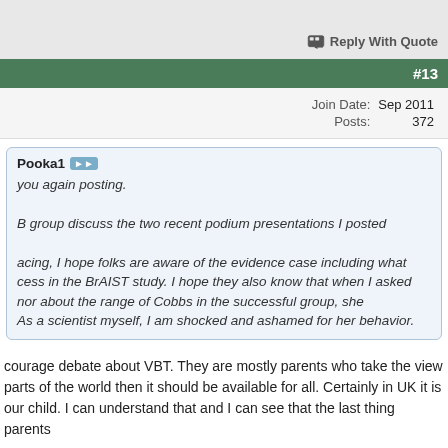Reply With Quote
#13
| Join Date: | Sep 2011 |
| Posts: | 372 |
Pooka1 [quote icon] you again posting. B group discuss the two recent podium presentations I posted
acing, I hope folks are aware of the evidence case including what cess in the BrAIST study. I hope they also know that when I asked nor about the range of Cobbs in the successful group, she As a scientist myself, I am shocked and ashamed for her behavior.
courage debate about VBT. They are mostly parents who take the view parts of the world then it should be available for all. Certainly in UK it is our child. I can understand that and I can see that the last thing parents